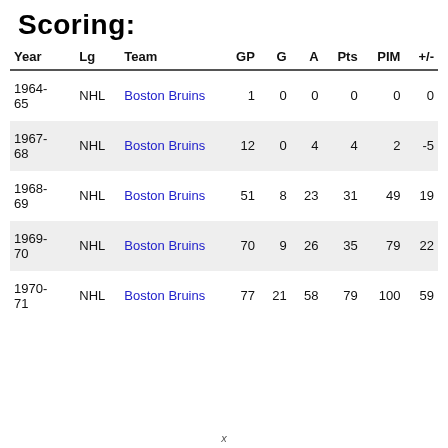Scoring:
| Year | Lg | Team | GP | G | A | Pts | PIM | +/- |
| --- | --- | --- | --- | --- | --- | --- | --- | --- |
| 1964-65 | NHL | Boston Bruins | 1 | 0 | 0 | 0 | 0 | 0 |
| 1967-68 | NHL | Boston Bruins | 12 | 0 | 4 | 4 | 2 | -5 |
| 1968-69 | NHL | Boston Bruins | 51 | 8 | 23 | 31 | 49 | 19 |
| 1969-70 | NHL | Boston Bruins | 70 | 9 | 26 | 35 | 79 | 22 |
| 1970-71 | NHL | Boston Bruins | 77 | 21 | 58 | 79 | 100 | 59 |
x